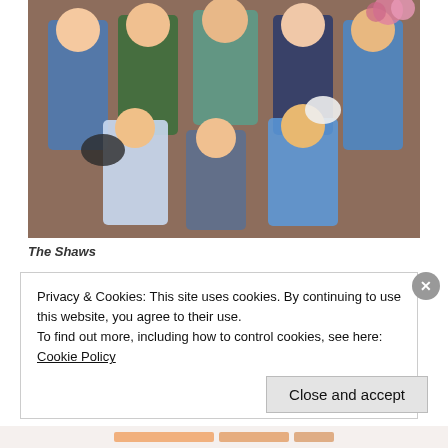[Figure (photo): A family group photo of multiple adults and children including two dogs, seated and standing in front of a brick house doorway. Several people are smiling at the camera.]
The Shaws
Privacy & Cookies: This site uses cookies. By continuing to use this website, you agree to their use.
To find out more, including how to control cookies, see here: Cookie Policy
Close and accept